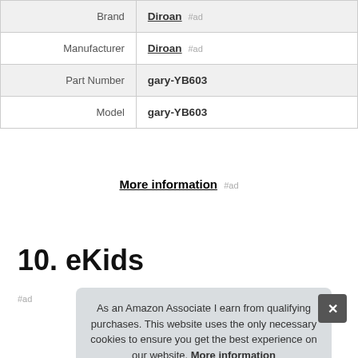| Brand | Diroan #ad |
| Manufacturer | Diroan #ad |
| Part Number | gary-YB603 |
| Model | gary-YB603 |
More information #ad
10. eKids
#ad
As an Amazon Associate I earn from qualifying purchases. This website uses the only necessary cookies to ensure you get the best experience on our website. More information